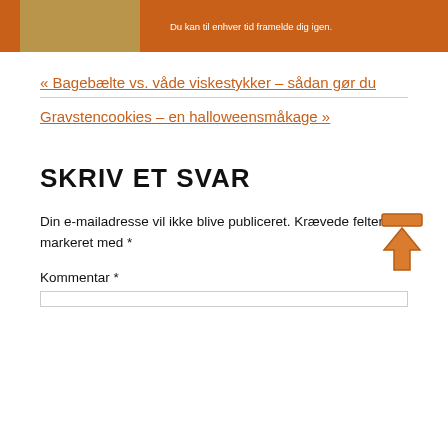[Figure (other): Orange banner with thumbnail image on left and text 'Du kan til enhver tid framelde dig igen.' on right]
« Bagebælte vs. våde viskestykker – sådan gør du
Gravstencookies – en halloweensmåkage »
SKRIV ET SVAR
Din e-mailadresse vil ikke blive publiceret. Krævede felter er markeret med *
Kommentar *